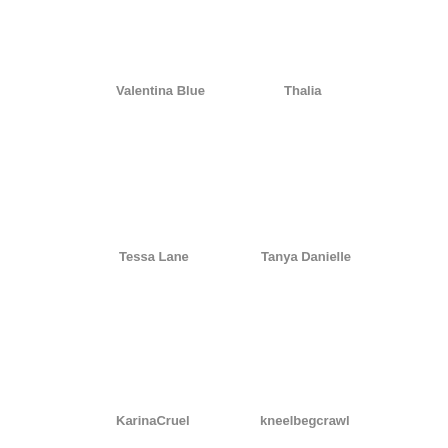Valentina Blue
Thalia
Tessa Lane
Tanya Danielle
KarinaCruel
kneelbegcrawl